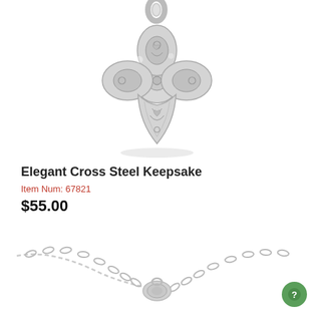[Figure (photo): Decorative silver steel cross keepsake pendant with ornate floral scrollwork pattern, photographed against white background with subtle shadow]
Elegant Cross Steel Keepsake
Item Num: 67821
$55.00
[Figure (photo): Silver chain necklace with a small round barrel or tube pendant, photographed from above against white background]